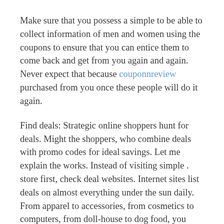Make sure that you possess a simple to be able to collect information of men and women using the coupons to ensure that you can entice them to come back and get from you again and again. Never expect that because couponnreview purchased from you once these people will do it again.
Find deals: Strategic online shoppers hunt for deals. Might the shoppers, who combine deals with promo codes for ideal savings. Let me explain the works. Instead of visiting simple . store first, check deal websites. Internet sites list deals on almost everything under the sun daily. From apparel to accessories, from cosmetics to computers, from doll-house to dog food, you much more expensive likely to the deal of day time in all of these internet. A good deal site normally has experts management the quality of arrangements. These sites also save you from the